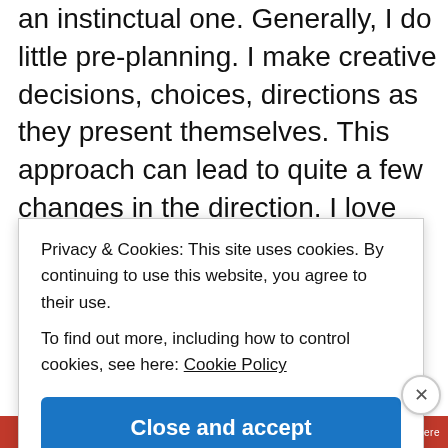an instinctual one. Generally, I do little pre-planning. I make creative decisions, choices, directions as they present themselves. This approach can lead to quite a few changes in the direction. I love that element of surprize! Sometimes I have one that I especially like, I can't wait to show someone. At that moment I feel like a six year old, running home from school, a
Privacy & Cookies: This site uses cookies. By continuing to use this website, you agree to their use. To find out more, including how to control cookies, see here: Cookie Policy
Close and accept